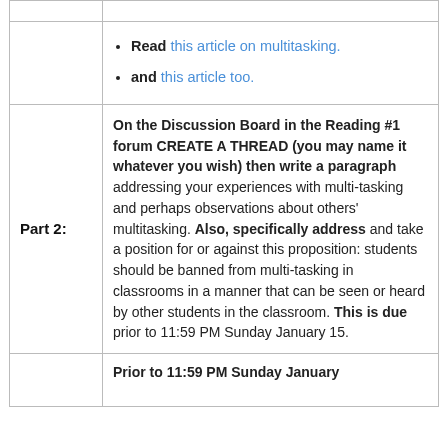|  | Read this article on multitasking. and this article too. |
| Part 2: | On the Discussion Board in the Reading #1 forum CREATE A THREAD (you may name it whatever you wish) then write a paragraph addressing your experiences with multi-tasking and perhaps observations about others' multitasking. Also, specifically address and take a position for or against this proposition: students should be banned from multi-tasking in classrooms in a manner that can be seen or heard by other students in the classroom. This is due prior to 11:59 PM Sunday January 15. |
|  | Prior to 11:59 PM Sunday January |